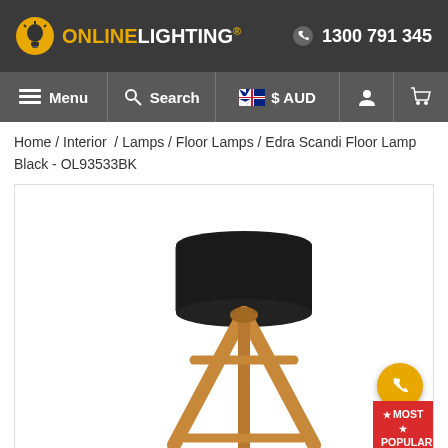ONLINELIGHTING® | 1300 791 345
Menu | Search | $ AUD | (user icon) | (cart icon)
Home / Interior / Lamps / Floor Lamps / Edra Scandi Floor Lamp Black - OL93533BK
[Figure (photo): Product photo of Edra Scandi Floor Lamp Black - a floor lamp with a wooden tripod-style base in natural oak/timber colour and a black cylindrical drum lampshade. The lamp has a distinctive Scandinavian design with three splayed wooden legs joined near the top. A yellow circular phone button and a red 'MOST POPULAR' badge are overlaid in the bottom-right corner.]